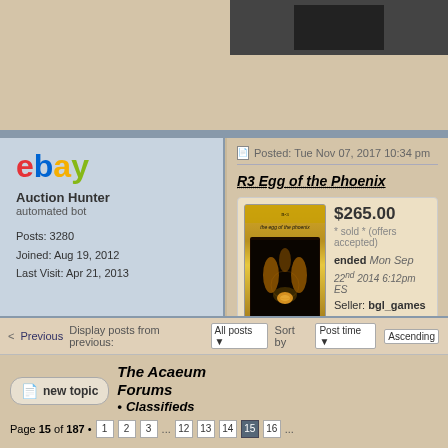[Figure (screenshot): Top portion of forum page showing a cropped dark image at top right]
Posted: Tue Nov 07, 2017 10:34 pm
[Figure (logo): eBay logo in red, blue, yellow, green colors]
Auction Hunter
automated bot

Posts: 3280
Joined: Aug 19, 2012
Last Visit: Apr 21, 2013
R3 Egg of the Phoenix
[Figure (photo): Book cover of 'the egg of the phoenix' adventure module with golden/black artwork showing phoenix birds]
$265.00 * sold * (offers accepted)
ended Mon Sep 22nd 2014 6:12pm ES...
Seller: bgl_games
< Previous  Display posts from previous:  All posts ▼  Sort by  Post time ▼  Ascending
The Acaeum Forums
• Classifieds
Page 15 of 187 • 1 2 3 ... 12 13 14 15 16 ...